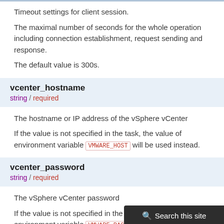Timeout settings for client session.
The maximal number of seconds for the whole operation including connection establishment, request sending and response.
The default value is 300s.
vcenter_hostname
string / required
The hostname or IP address of the vSphere vCenter
If the value is not specified in the task, the value of environment variable VMWARE_HOST will be used instead.
vcenter_password
string / required
The vSphere vCenter password
If the value is not specified in the task, the value of environment variable VMWARE_PASSWORD will be used instead.